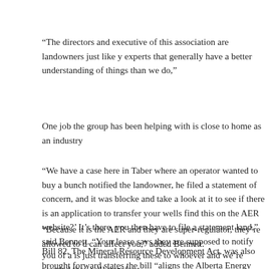“The directors and executive of this association are landowners just like you, but they also bring in experts that generally have a better understanding of things than we do,”
One job the group has been helping with is close to home as an industry
“We have a case here in Taber where an operator wanted to buy a bunch notified the landowner, he filed a statement of concern, and it was blocked and take a look at it to see if there is an application to transfer your wells find this on the AER website?’ It’s there, you then have to file a statement land,” said Bennett. “Your lease says they are supposed to notify you of a is just transferring these to whoever and we’re worried they will transfer t
“Because it is the AER and they are super-regulator, they’re allowed to d can affect you,” added Bennett.
Bill 82, The Mineral Resource Development Act, was also brought forward states the bill “aligns the Alberta Energy Regulator’s (AER) authority over fiscal and regulatory environment for metallic and industrial mineral deve